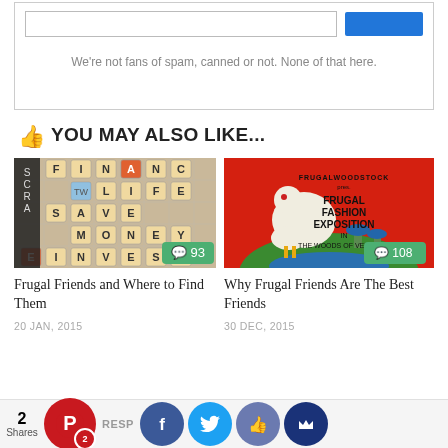We're not fans of spam, canned or not. None of that here.
YOU MAY ALSO LIKE...
[Figure (photo): Scrabble board with words FINANCIAL, LIFE, SAVE, MONEY, INVESTED arranged on tiles. Comment count badge showing 93.]
[Figure (illustration): Red poster-style illustration with a white dove/bird, text reading FRUGALWOODSTOCK presents FRUGAL FASHION EXPOSITION IN THE WOODS OF VERMONT. Comment count badge showing 108.]
Frugal Friends and Where to Find Them
20 JAN, 2015
Why Frugal Friends Are The Best Friends
30 DEC, 2015
2 Shares